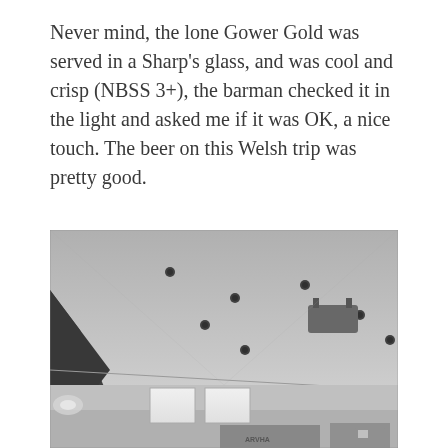Never mind, the lone Gower Gold was served in a Sharp's glass, and was cool and crisp (NBSS 3+), the barman checked it in the light and asked me if it was OK, a nice touch. The beer on this Welsh trip was pretty good.
[Figure (photo): Black and white interior photograph of a pub or bar, showing the ceiling with recessed spotlights and hanging fixtures, with bright windows visible in the background and bar area at the bottom.]